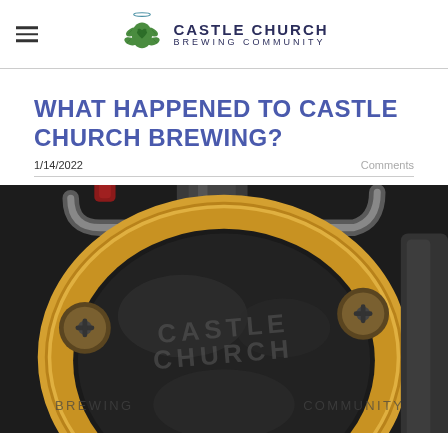Castle Church Brewing Community
WHAT HAPPENED TO CASTLE CHURCH BREWING?
1/14/2022   Comments
[Figure (photo): Close-up photograph of a shiny stainless steel and copper brewing kettle with Castle Church Brewing Community watermark overlay, showing valves and pipes of brewery equipment]